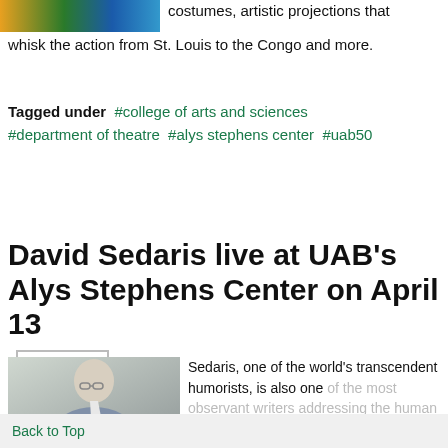[Figure (photo): Partial banner image showing colorful event imagery including green, orange and blue colors]
costumes, artistic projections that whisk the action from St. Louis to the Congo and more.
Tagged under  #college of arts and sciences  #department of theatre  #alys stephens center  #uab50
READ MORE...
David Sedaris live at UAB's Alys Stephens Center on April 13
[Figure (photo): Photo of David Sedaris, a man with glasses in a suit jacket, gray background]
Sedaris, one of the world's transcendent humorists, is also one of the most observant writers addressing the human condition
Back to Top